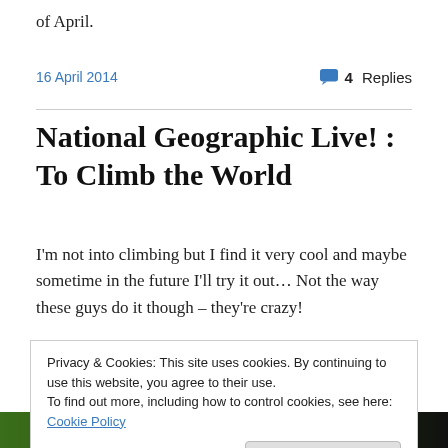of April.
16 April 2014   💬 4 Replies
National Geographic Live! : To Climb the World
I'm not into climbing but I find it very cool and maybe sometime in the future I'll try it out… Not the way these guys do it though – they're crazy!
Privacy & Cookies: This site uses cookies. By continuing to use this website, you agree to their use.
To find out more, including how to control cookies, see here: Cookie Policy
[Figure (screenshot): Bottom strip showing a National Geographic image with text 'To Climb the World National Geographic...']